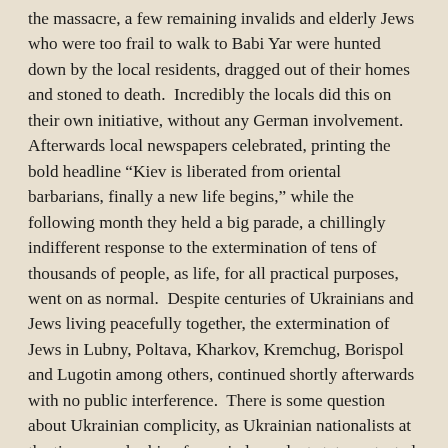the massacre, a few remaining invalids and elderly Jews who were too frail to walk to Babi Yar were hunted down by the local residents, dragged out of their homes and stoned to death.  Incredibly the locals did this on their own initiative, without any German involvement.  Afterwards local newspapers celebrated, printing the bold headline “Kiev is liberated from oriental barbarians, finally a new life begins,” while the following month they held a big parade, a chillingly indifferent response to the extermination of tens of thousands of people, as life, for all practical purposes, went on as normal.  Despite centuries of Ukrainians and Jews living peacefully together, the extermination of Jews in Lubny, Poltava, Kharkov, Kremchug, Borispol and Lugotin among others, continued shortly afterwards with no public interference.  There is some question about Ukrainian complicity, as Ukrainian nationalists at the time were looking for an independent state protected by the German army, unaware that the Germans planned to kill them as well, but the Nazi priority was to exterminate all the Jews first, Poles and Ukrainians would come afterwards.
The war on the Eastern Front began to take a turn in 1943 when Soviet troops reclaimed Kiev, with Hitler posters once again replaced by Stalin, though Ukrainian independence remained a distant dream.